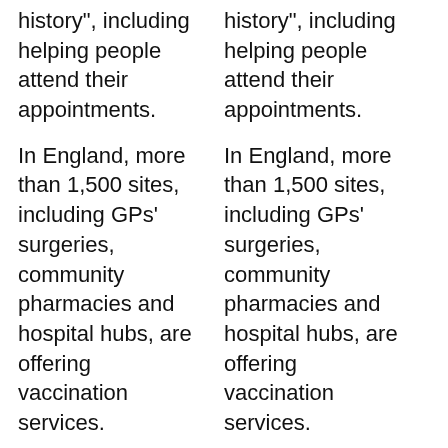history", including helping people attend their appointments.
In England, more than 1,500 sites, including GPs' surgeries, community pharmacies and hospital hubs, are offering vaccination services.
They also include 90 major vaccine sites which have been set up in larger premises, such as sports centres, racecourses and showgrounds, which are capable of giving jabs to thousands of people a week.
history", including helping people attend their appointments.
In England, more than 1,500 sites, including GPs' surgeries, community pharmacies and hospital hubs, are offering vaccination services.
They also include 90 major vaccine sites which have been set up in larger premises, such as sports centres, racecourses and showgrounds, which are capable of giving jabs to thousands of people a week.